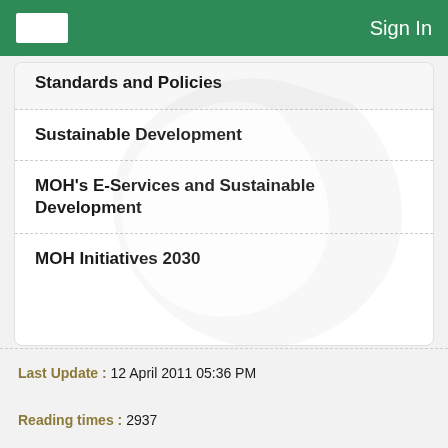Sign In
Standards and Policies
Sustainable Development
MOH's E-Services and Sustainable Development
MOH Initiatives 2030
Last Update : 12 April 2011 05:36 PM
Reading times : 2937